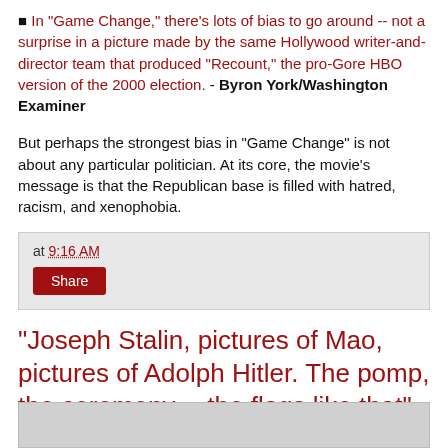■ In "Game Change," there's lots of bias to go around -- not a surprise in a picture made by the same Hollywood writer-and-director team that produced "Recount," the pro-Gore HBO version of the 2000 election. - Byron York/Washington Examiner
But perhaps the strongest bias in "Game Change" is not about any particular politician. At its core, the movie's message is that the Republican base is filled with hatred, racism, and xenophobia.
at 9:16 AM
Share
"Joseph Stalin, pictures of Mao, pictures of Adolph Hitler. The pomp, the ceremony -- the flags like that"